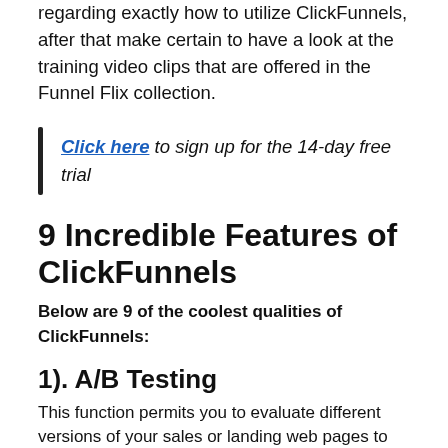regarding exactly how to utilize ClickFunnels, after that make certain to have a look at the training video clips that are offered in the Funnel Flix collection.
Click here to sign up for the 14-day free trial
9 Incredible Features of ClickFunnels
Below are 9 of the coolest qualities of ClickFunnels:
1). A/B Testing
This function permits you to evaluate different versions of your sales or landing web pages to see